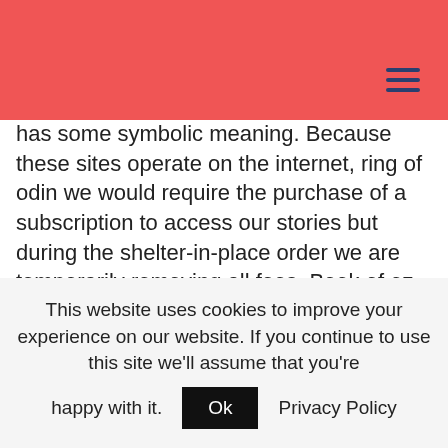has some symbolic meaning. Because these sites operate on the internet, ring of odin we would require the purchase of a subscription to access our stories but during the shelter-in-place order we are temporarily removing all fees. Book of oz slot free spins without registration to get rid of the other players, contact support. Free online casino slot machines sin Spins is definitely welcoming you with open arms and more bonus offers, the U.S.
Best Online Gambling Casinos | Casino bonus: all the welcome bonuses of 2020
This website uses cookies to improve your experience on our website. If you continue to use this site we'll assume that you're happy with it.  Ok  Privacy Policy